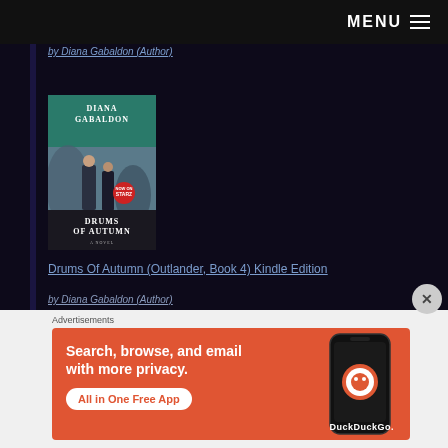MENU ≡
by Diana Gabaldon (Author)
[Figure (photo): Book cover of 'Drums of Autumn' by Diana Gabaldon, showing two figures standing together, with a red Starz badge, teal header with author name and white title text at bottom.]
Drums Of Autumn (Outlander, Book 4) Kindle Edition
by Diana Gabaldon (Author)
Advertisements
[Figure (screenshot): DuckDuckGo advertisement banner with orange background. Text reads: 'Search, browse, and email with more privacy. All in One Free App' with a DuckDuckGo logo and phone mockup on the right.]